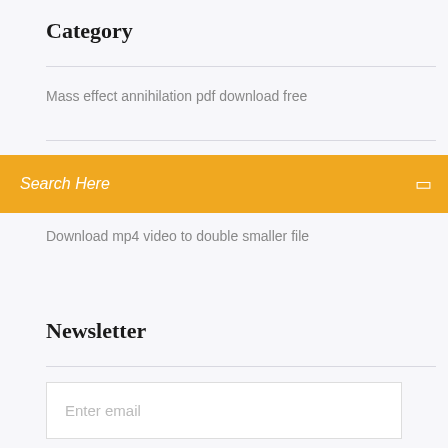Category
Mass effect annihilation pdf download free
Search Here
Download mp4 video to double smaller file
Newsletter
Enter email